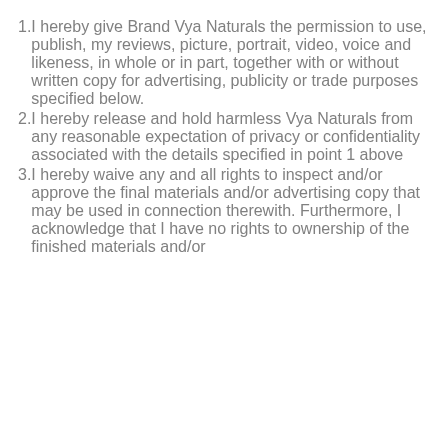I hereby give Brand Vya Naturals the permission to use, publish, my reviews, picture, portrait, video, voice and likeness, in whole or in part, together with or without written copy for advertising, publicity or trade purposes specified below.
I hereby release and hold harmless Vya Naturals from any reasonable expectation of privacy or confidentiality associated with the details specified in point 1 above
I hereby waive any and all rights to inspect and/or approve the final materials and/or advertising copy that may be used in connection therewith. Furthermore, I acknowledge that I have no rights to ownership of the finished materials and/or